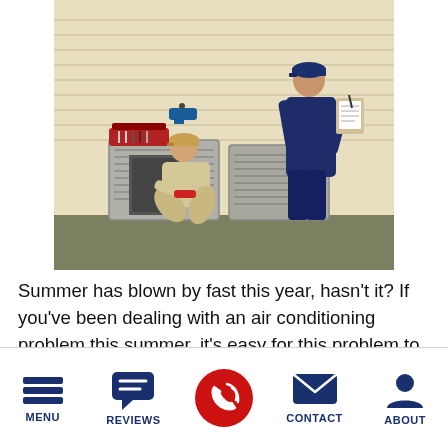[Figure (photo): Two HVAC technicians servicing an outdoor air conditioning unit. One technician is crouching and working on the interior of the unit holding a tool, wearing a beige uniform and cap. The other technician is standing and writing on a clipboard, wearing a dark navy uniform and cap.]
Summer has blown by fast this year, hasn't it? If you've been dealing with an air conditioning problem this summer, it's easy for this problem to have slipped through your fingers. It feels like we blinked and then August was already here! You've had a little trouble staying prompt when it comes to your AC work so far—that's okay! Just
MENU  REVIEWS  [phone]  CONTACT  ABOUT